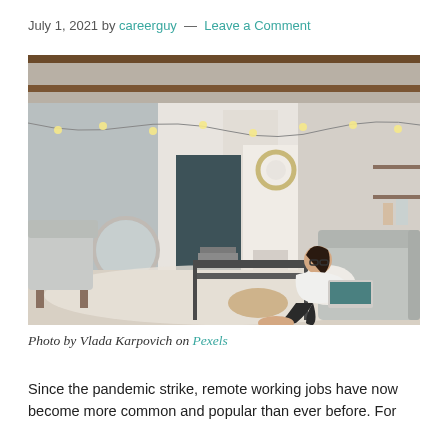July 1, 2021 by careerguy — Leave a Comment
[Figure (photo): Woman sitting on the floor of a stylish loft apartment working on a laptop computer, with a grey sofa, coffee table, hanging Edison bulb lights, a wreath on a white wall, and modern industrial interior decor.]
Photo by Vlada Karpovich on Pexels
Since the pandemic strike, remote working jobs have now become more common and popular than ever before. For